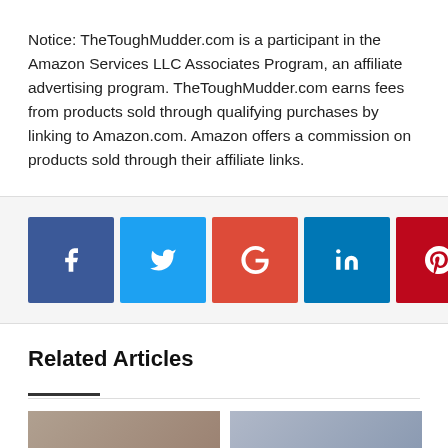Notice: TheToughMudder.com is a participant in the Amazon Services LLC Associates Program, an affiliate advertising program. TheToughMudder.com earns fees from products sold through qualifying purchases by linking to Amazon.com. Amazon offers a commission on products sold through their affiliate links.
[Figure (other): Social share buttons: Facebook, Twitter, Google, LinkedIn, Pinterest, Email, Print]
Related Articles
[Figure (photo): Thumbnail image for article 'Top 5 Tough Mudder Myths']
[Figure (photo): Thumbnail image for a second related article]